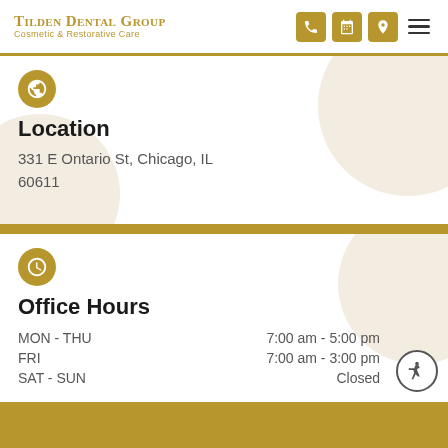Tilden Dental Group – Cosmetic & Restorative Care
Location
331 E Ontario St, Chicago, IL 60611
Office Hours
| Day | Hours |
| --- | --- |
| MON - THU | 7:00 am - 5:00 pm |
| FRI | 7:00 am - 3:00 pm |
| SAT - SUN | Closed |